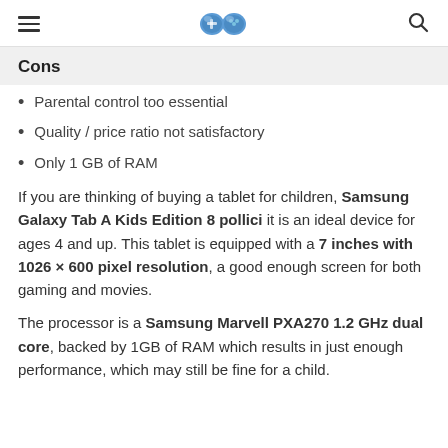≡ [game controller logo] 🔍
Cons
Parental control too essential
Quality / price ratio not satisfactory
Only 1 GB of RAM
If you are thinking of buying a tablet for children, Samsung Galaxy Tab A Kids Edition 8 pollici it is an ideal device for ages 4 and up. This tablet is equipped with a 7 inches with 1026 × 600 pixel resolution, a good enough screen for both gaming and movies.
The processor is a Samsung Marvell PXA270 1.2 GHz dual core, backed by 1GB of RAM which results in just enough performance, which may still be fine for a child.